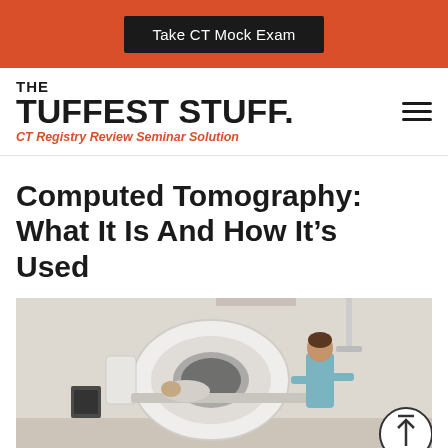Take CT Mock Exam
[Figure (logo): The Tuffest Stuff. CT Registry Review Seminar Solution logo]
Computed Tomography: What It Is And How It’s Used
[Figure (photo): Photo of a CT scanner room with a patient lying in the CT machine and a medical professional standing beside it]